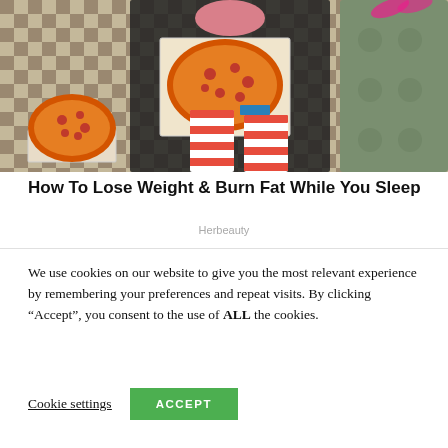[Figure (photo): A person sitting on a couch holding an open pizza box with a large pizza, wearing red and white striped socks/stockings, with another pizza on the floor to the left. The floor has a checkered pattern.]
How To Lose Weight & Burn Fat While You Sleep
Herbeauty
We use cookies on our website to give you the most relevant experience by remembering your preferences and repeat visits. By clicking “Accept”, you consent to the use of ALL the cookies.
Cookie settings  ACCEPT